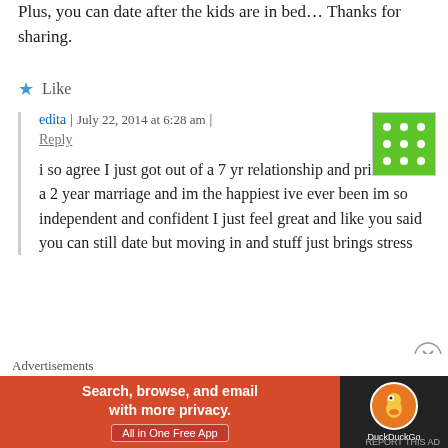Plus, you can date after the kids are in bed… Thanks for sharing.
★ Like
edita | July 22, 2014 at 6:28 am | Reply
[Figure (illustration): Green square avatar with white polka dots arranged in a grid pattern]
i so agree I just got out of a 7 yr relationship and prior to that a 2 year marriage and im the happiest ive ever been im so independent and confident I just feel great and like you said you can still date but moving in and stuff just brings stress
[Figure (other): Close/dismiss button - circle with X inside]
Advertisements
[Figure (screenshot): DuckDuckGo advertisement banner: orange/red background with text 'Search, browse, and email with more privacy. All in One Free App' and DuckDuckGo duck logo on dark background]